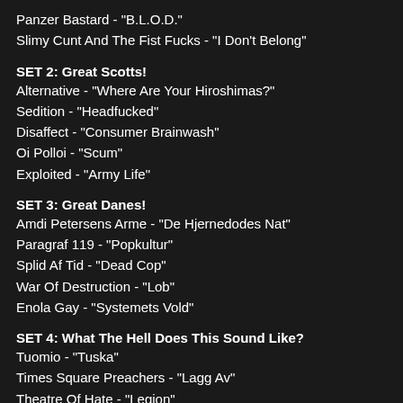Panzer Bastard - "B.L.O.D."
Slimy Cunt And The Fist Fucks - "I Don't Belong"
SET 2: Great Scotts!
Alternative - "Where Are Your Hiroshimas?"
Sedition - "Headfucked"
Disaffect - "Consumer Brainwash"
Oi Polloi - "Scum"
Exploited - "Army Life"
SET 3: Great Danes!
Amdi Petersens Arme - "De Hjernedodes Nat"
Paragraf 119 - "Popkultur"
Splid Af Tid - "Dead Cop"
War Of Destruction - "Lob"
Enola Gay - "Systemets Vold"
SET 4: What The Hell Does This Sound Like?
Tuomio - "Tuska"
Times Square Preachers - "Lagg Av"
Theatre Of Hate - "Legion"
Zenevski Dekret - "Ubiiam Te"